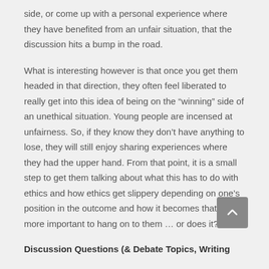side, or come up with a personal experience where they have benefited from an unfair situation, that the discussion hits a bump in the road.
What is interesting however is that once you get them headed in that direction, they often feel liberated to really get into this idea of being on the “winning” side of an unethical situation. Young people are incensed at unfairness. So, if they know they don’t have anything to lose, they will still enjoy sharing experiences where they had the upper hand. From that point, it is a small step to get them talking about what this has to do with ethics and how ethics get slippery depending on one’s position in the outcome and how it becomes that much more important to hang on to them … or does it?
Discussion Questions (& Debate Topics, Writing